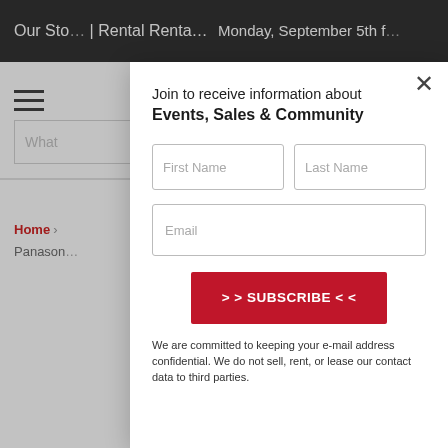Our Sto... | Rental Renta... | ... Monday, September 5th f...
[Figure (screenshot): Hamburger menu icon (three horizontal lines)]
[Figure (screenshot): Search input box with placeholder text 'What']
Home › Panason...
Join to receive information about Events, Sales & Community
First Name
Last Name
Email
>> SUBSCRIBE <<
We are committed to keeping your e-mail address confidential. We do not sell, rent, or lease our contact data to third parties.